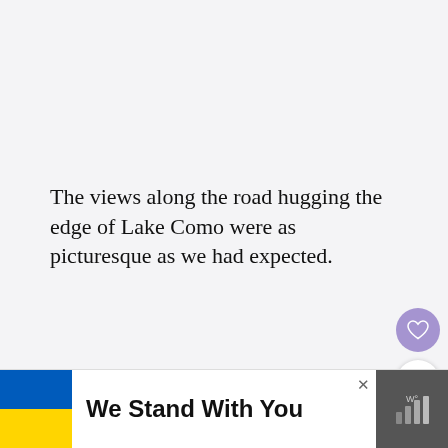The views along the road hugging the edge of Lake Como were as picturesque as we had expected.
[Figure (photo): Photograph of Lake Como landscape showing mountain cliffs, green trees, a lake, and blue sky with clouds. A 'What's Next' overlay panel shows a thumbnail and text 'Corinthia Budapest...' with an arrow.]
[Figure (infographic): Advertisement banner with Ukrainian flag colors (blue and yellow) on the left, bold text 'We Stand With You', a close button (x), and a weather widget icon on the right.]